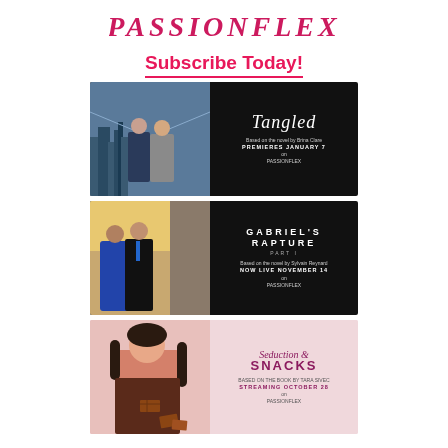[Figure (logo): PassionFlix logo in pink/red italic serif text]
Subscribe Today!
[Figure (photo): Tangled movie promotional banner: two people standing in front of city skyline on left half (dark background), script title 'Tangled' on right with tagline and premiere info on PassionFlix]
[Figure (photo): Gabriel's Rapture Part I promotional banner: couple about to kiss on left, dark background with 'GABRIEL'S RAPTURE' spaced uppercase text and premiere info on right]
[Figure (photo): Seduction & Snacks promotional banner: woman holding chocolate on pink background with script/bold title and premiere info]